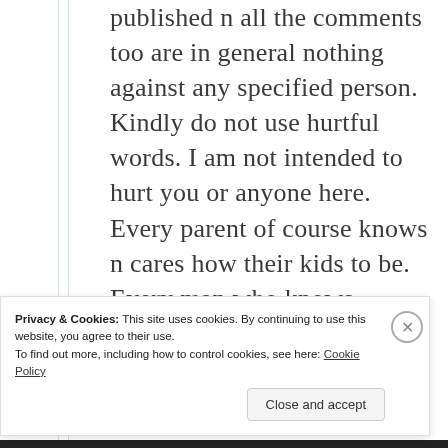published n all the comments too are in general nothing against any specified person. Kindly do not use hurtful words. I am not intended to hurt you or anyone here. Every parent of course knows n cares how their kids to be. Every man who knows
Privacy & Cookies: This site uses cookies. By continuing to use this website, you agree to their use. To find out more, including how to control cookies, see here: Cookie Policy